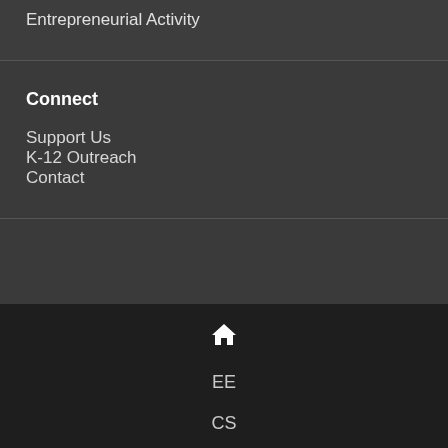Entrepreneurial Activity
Connect
Support Us
K-12 Outreach
Contact
🏠 EE CS